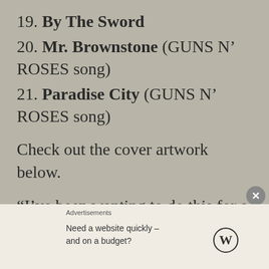19. By The Sword
20. Mr. Brownstone (GUNS N’ ROSES song)
21. Paradise City (GUNS N’ ROSES song)
Check out the cover artwork below.
“I’ve been wanting to do this for a long
Advertisements
Need a website quickly – and on a budget?